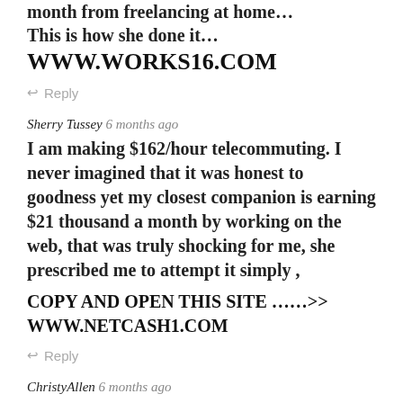month from freelancing at home…
This is how she done it…
WWW.WORKS16.COM
Reply
Sherry Tussey 6 months ago
I am making $162/hour telecommuting. I never imagined that it was honest to goodness yet my closest companion is earning $21 thousand a month by working on the web, that was truly shocking for me, she prescribed me to attempt it simply ,
COPY AND OPEN THIS SITE ……>> WWW.NETCASH1.COM
Reply
ChristyAllen 6 months ago
These are 2 pay checks $78367 and $87367. that i received in last 2 months.I